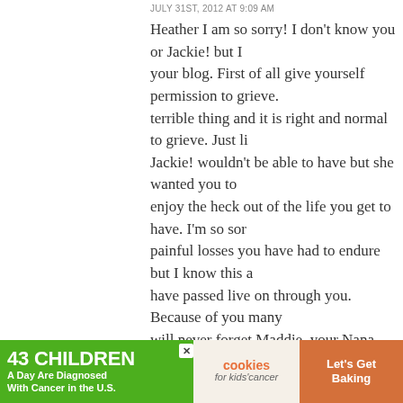JULY 31ST, 2012 AT 9:09 AM
Heather I am so sorry! I don't know you or Jackie! but I your blog. First of all give yourself permission to grieve. terrible thing and it is right and normal to grieve. Just li Jackie! wouldn't be able to have but she wanted you to enjoy the heck out of the life you get to have. I'm so sor painful losses you have had to endure but I know this a have passed live on through you. Because of you many will never forget Maddie, your Nana, your Uncle who di Aunt and your bestfriend. They have taught us to enjoy appreciate our loved ones, to make yummy treats, to be friend and much more. They live on through you and ef people that they have never met.
> Reply
32.
Jamie says:
JULY 31ST, 2012 AT 9:26 AM
Thinking of you and your Jackie.
[Figure (infographic): Advertisement banner: '43 CHILDREN A Day Are Diagnosed With Cancer in the U.S.' with cookies for kids cancer logo and 'Let's Get Baking' text on orange background]